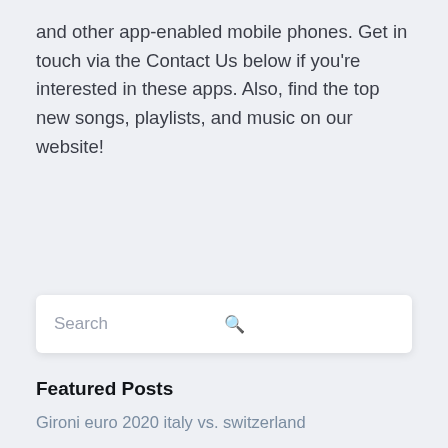and other app-enabled mobile phones. Get in touch via the Contact Us below if you're interested in these apps. Also, find the top new songs, playlists, and music on our website!
Search
Featured Posts
Gironi euro 2020 italy vs. switzerland